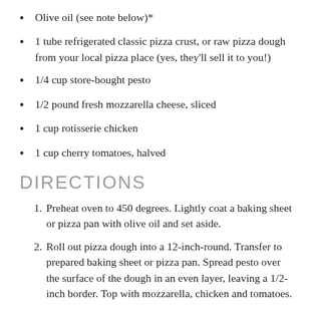Olive oil (see note below)*
1 tube refrigerated classic pizza crust, or raw pizza dough from your local pizza place (yes, they'll sell it to you!)
1/4 cup store-bought pesto
1/2 pound fresh mozzarella cheese, sliced
1 cup rotisserie chicken
1 cup cherry tomatoes, halved
DIRECTIONS
Preheat oven to 450 degrees. Lightly coat a baking sheet or pizza pan with olive oil and set aside.
Roll out pizza dough into a 12-inch-round. Transfer to prepared baking sheet or pizza pan. Spread pesto over the surface of the dough in an even layer, leaving a 1/2-inch border. Top with mozzarella, chicken and tomatoes.